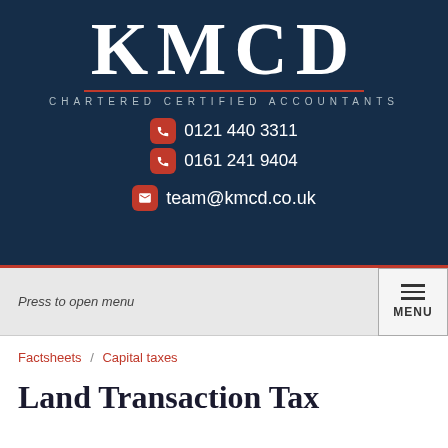[Figure (logo): KMCD Chartered Certified Accountants logo on dark navy background with contact details: 0121 440 3311, 0161 241 9404, team@kmcd.co.uk]
Press to open menu
MENU
Factsheets / Capital taxes
Land Transaction Tax